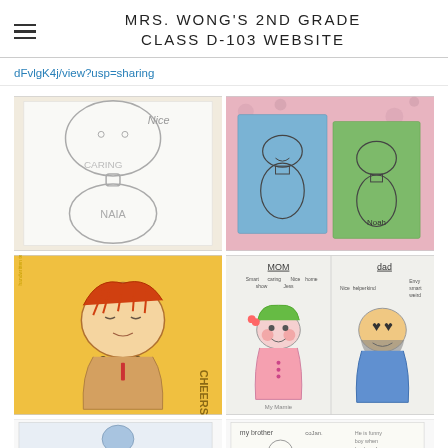MRS. WONG'S 2ND GRADE CLASS D-103 WEBSITE
dFvlgK4j/view?usp=sharing
[Figure (photo): Child's pencil drawing showing two circles (head and body) with text 'Nice', 'CARING', and 'NAIA' written on white paper on a wooden surface]
[Figure (photo): Two children's drawings on blue and green paper showing simple face figures, on a floral pink background]
[Figure (photo): Child's crayon drawing on yellow paper of a person with orange/red hair and dark beaded necklace, with handwritten text on the side]
[Figure (photo): Child's drawing showing two figures labeled 'MOM' and 'DAD' with descriptive words written around each figure]
[Figure (photo): Partial view of a child's drawing on white paper showing a blue figure]
[Figure (photo): Partial view of a child's drawing on white paper with handwritten text about 'my brother']